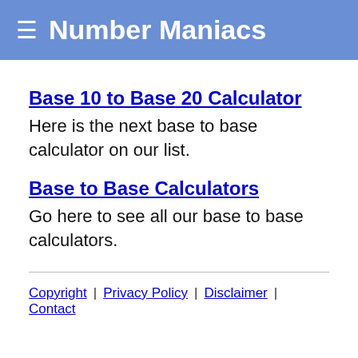☰ Number Maniacs
Base 10 to Base 20 Calculator
Here is the next base to base calculator on our list.
Base to Base Calculators
Go here to see all our base to base calculators.
Copyright | Privacy Policy | Disclaimer | Contact